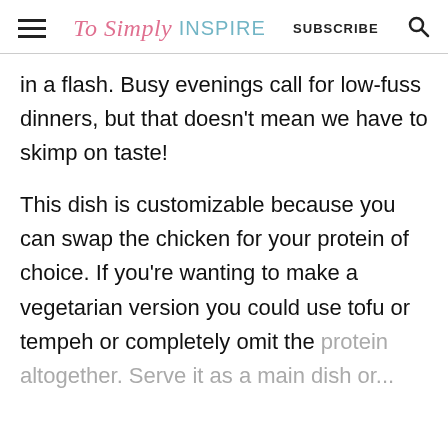To Simply INSPIRE | SUBSCRIBE
in a flash. Busy evenings call for low-fuss dinners, but that doesn't mean we have to skimp on taste!
This dish is customizable because you can swap the chicken for your protein of choice. If you're wanting to make a vegetarian version you could use tofu or tempeh or completely omit the protein altogether. Serve it as a main dish or...